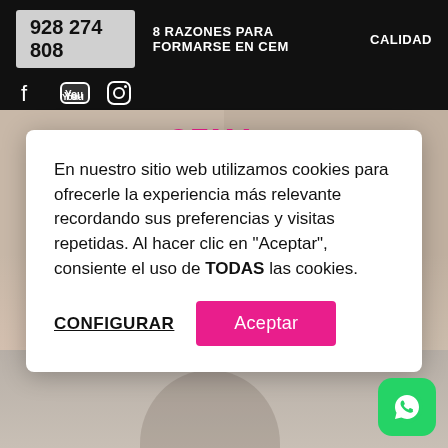928 274 808   8 RAZONES PARA FORMARSE EN CEM   CALIDAD
En nuestro sitio web utilizamos cookies para ofrecerle la experiencia más relevante recordando sus preferencias y visitas repetidas. Al hacer clic en "Aceptar", consiente el uso de TODAS las cookies.
CONFIGURAR   Aceptar
[Figure (photo): Background with two portrait-oriented photos of a person's neck/shoulder, and a runner photo at the bottom]
[Figure (logo): WhatsApp button icon (green rounded square with phone handset icon)]